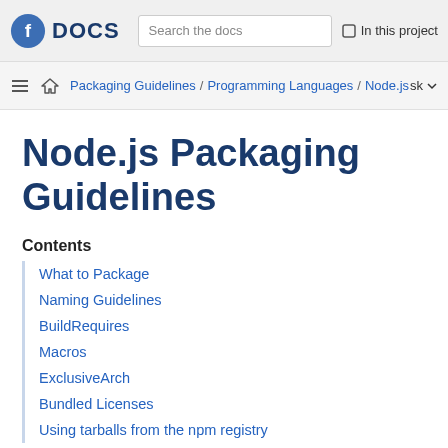Fedora DOCS | Search the docs | In this project
Packaging Guidelines / Programming Languages / Node.js | sk
Node.js Packaging Guidelines
Contents
What to Package
Naming Guidelines
BuildRequires
Macros
ExclusiveArch
Bundled Licenses
Using tarballs from the npm registry